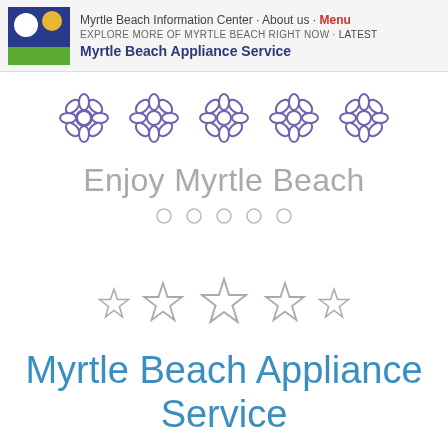Myrtle Beach Information Center · About us · Menu EXPLORE MORE OF MYRTLE BEACH RIGHT NOW · Latest Myrtle Beach Appliance Service
[Figure (illustration): Five purple decorative flower/daisy icons in a row]
Enjoy Myrtle Beach
[Figure (illustration): Five empty circle dots (pagination indicators) in a row]
[Figure (illustration): Five outline star icons of varying sizes in a row (star rating display)]
Myrtle Beach Appliance Service